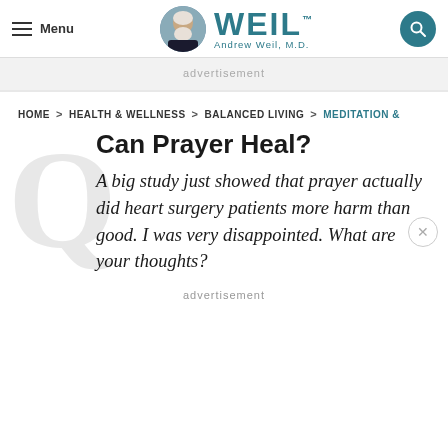Menu | WEIL Andrew Weil, M.D.
advertisement
HOME > HEALTH & WELLNESS > BALANCED LIVING > MEDITATION &
Can Prayer Heal?
A big study just showed that prayer actually did heart surgery patients more harm than good. I was very disappointed. What are your thoughts?
advertisement